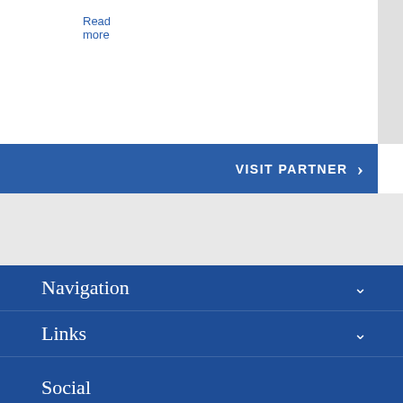Read more
VISIT PARTNER ›
Navigation
Links
Contact
Social